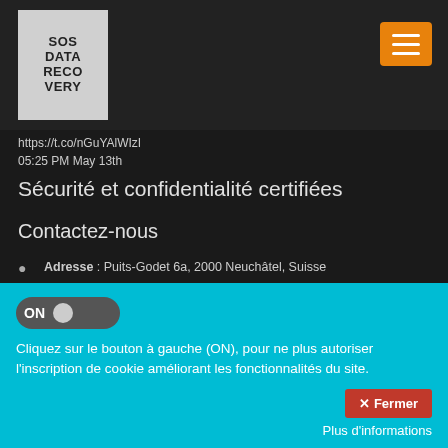SOS DATA RECOVERY
https://t.co/nGuYAlWIzI
05:25 PM May 13th
Sécurité et confidentialité certifiées
Contactez-nous
Adresse : Puits-Godet 6a, 2000 Neuchâtel, Suisse
Téléphone : 078 480 294 / 347-699-0034 (New-York)
Email : info@sos-data-recovery.be
ON
Cliquez sur le bouton à gauche (ON), pour ne plus autoriser l'inscription de cookie améliorant les fonctionnalités du site.
✕ Fermer
Plus d'informations